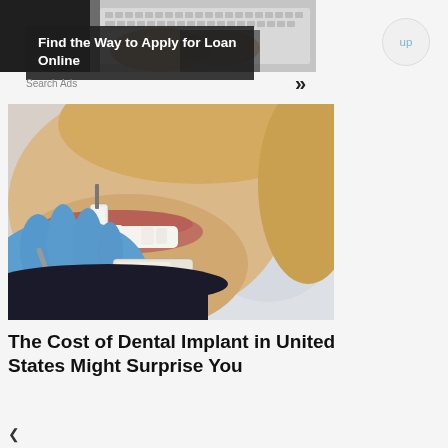[Figure (photo): Advertisement banner showing hands typing on a keyboard with dark overlay text box]
Find the Way to Apply for Loan Online
Search Ads
[Figure (photo): Close-up photo of a woman smiling with a dental implant/veneer being held up to her teeth by a gloved hand]
The Cost of Dental Implant in United States Might Surprise You